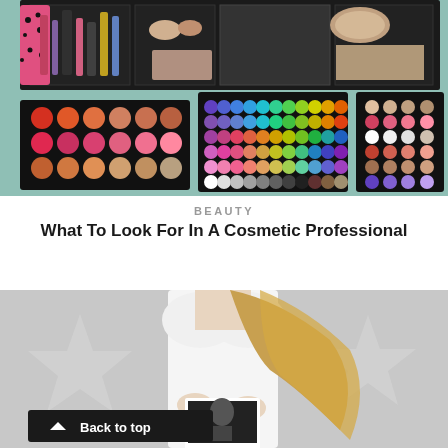[Figure (photo): Overhead view of open black professional makeup artist case with multiple colorful eyeshadow palettes arranged open on a teal/mint surface. Palettes include rainbow colors, warm tones, and neutrals. Various makeup products visible in the case compartments.]
BEAUTY
What To Look For In A Cosmetic Professional
[Figure (photo): Woman in white top holding a polaroid photo, with large decorative star shapes visible in the background on a grey backdrop. A 'Back to top' button overlay appears at the bottom left.]